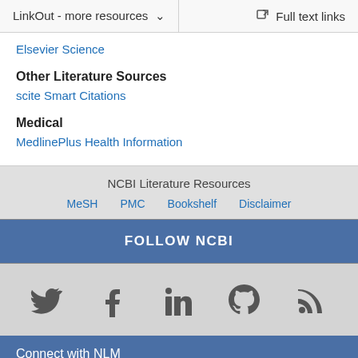LinkOut - more resources  |  Full text links
Elsevier Science
Other Literature Sources
scite Smart Citations
Medical
MedlinePlus Health Information
NCBI Literature Resources
MeSH
PMC
Bookshelf
Disclaimer
FOLLOW NCBI
[Figure (illustration): Social media icons: Twitter, Facebook, LinkedIn, GitHub, RSS]
Connect with NLM